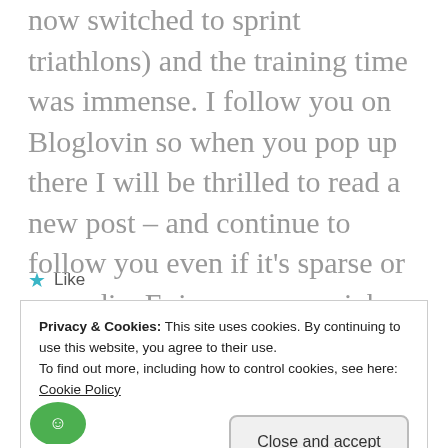now switched to sprint triathlons) and the training time was immense. I follow you on Bloglovin so when you pop up there I will be thrilled to read a new post – and continue to follow you even if it's sparse or sporadic. Enjoy your new job – and anymore time of from social media.
★ Like
Privacy & Cookies: This site uses cookies. By continuing to use this website, you agree to their use.
To find out more, including how to control cookies, see here:
Cookie Policy
Close and accept